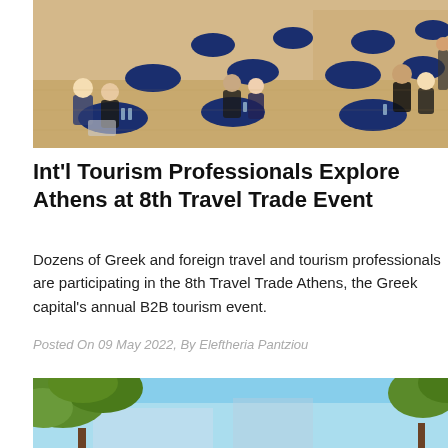[Figure (photo): Indoor conference/networking event with people seated at round tables draped in dark blue tablecloths in a large hall, business meeting setting.]
Int'l Tourism Professionals Explore Athens at 8th Travel Trade Event
Dozens of Greek and foreign travel and tourism professionals are participating in the 8th Travel Trade Athens, the Greek capital's annual B2B tourism event.
Posted On 09 May 2022, By Eleftheria Pantziou
[Figure (photo): Outdoor photo showing tree branches against a blue sky, partial view of a building.]